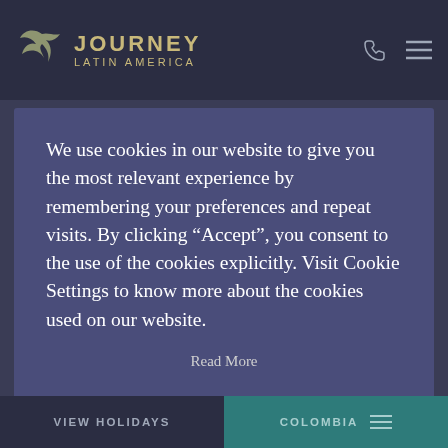[Figure (logo): Journey Latin America logo with bird icon and text]
We use cookies in our website to give you the most relevant experience by remembering your preferences and repeat visits. By clicking “Accept”, you consent to the use of the cookies explicitly. Visit Cookie Settings to know more about the cookies used on our website.
Read More
☑ Necessary  ☑ Analytics  ☑ Marketing
Cookie settings  ACCEPT
VIEW HOLIDAYS  COLOMBIA